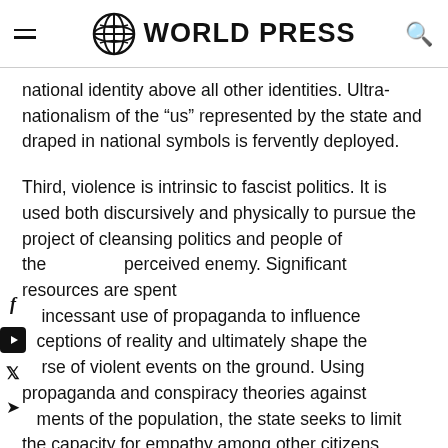WORLD PRESS
national identity above all other identities. Ultra-nationalism of the “us” represented by the state and draped in national symbols is fervently deployed.
Third, violence is intrinsic to fascist politics. It is used both discursively and physically to pursue the project of cleansing politics and people of the perceived enemy. Significant resources are spent on incessant use of propaganda to influence perceptions of reality and ultimately shape the course of violent events on the ground. Using propaganda and conspiracy theories against segments of the population, the state seeks to limit the capacity for empathy among other citizens